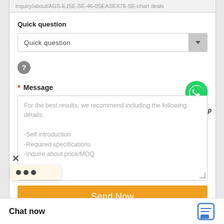inquiry/about/AGS-EJSE-SE-46-0SEASEX76-SE-chart deals
Quick question
Quick question
?
* Message
[Figure (logo): WhatsApp green phone icon with 'WhatsApp Online' text below]
For the best results, we recommend including the following details:
-Self introduction
-Required specifications
-Inquire about price/MOQ
Send Now
× ...
Chat now